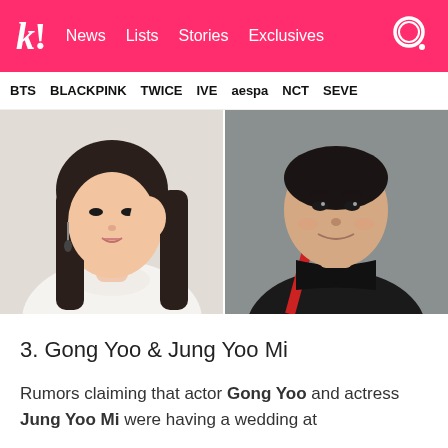k! News Lists Stories Exclusives
BTS BLACKPINK TWICE IVE aespa NCT SEVE
[Figure (photo): Side-by-side photos: left shows a young Asian woman in a white turtleneck making a heart gesture near her face with long dark hair and earrings; right shows a young Asian man in a black jacket with a red strap, smiling at camera in a selfie style.]
3. Gong Yoo & Jung Yoo Mi
Rumors claiming that actor Gong Yoo and actress Jung Yoo Mi were having a wedding at